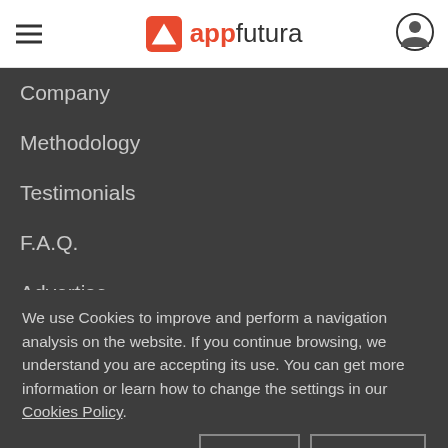appfutura
Company
Methodology
Testimonials
F.A.Q.
Advertise
Press room
We use Cookies to improve and perform a navigation analysis on the website. If you continue browsing, we understand you are accepting its use. You can get more information or learn how to change the settings in our Cookies Policy.